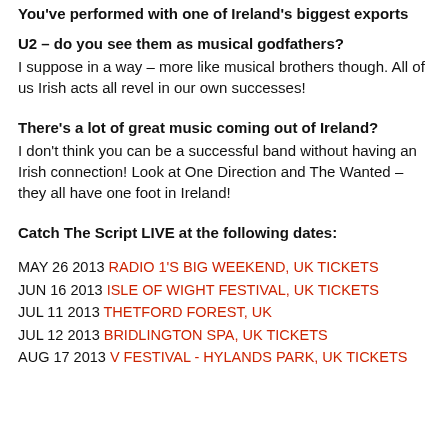You've performed with one of Ireland's biggest exports
U2 – do you see them as musical godfathers?
I suppose in a way – more like musical brothers though. All of us Irish acts all revel in our own successes!
There's a lot of great music coming out of Ireland?
I don't think you can be a successful band without having an Irish connection! Look at One Direction and The Wanted – they all have one foot in Ireland!
Catch The Script LIVE at the following dates:
MAY 26 2013  RADIO 1'S BIG WEEKEND, UK TICKETS
JUN 16 2013  ISLE OF WIGHT FESTIVAL, UK TICKETS
JUL 11 2013  THETFORD FOREST, UK
JUL 12 2013  BRIDLINGTON SPA, UK TICKETS
AUG 17 2013  V FESTIVAL - HYLANDS PARK, UK TICKETS